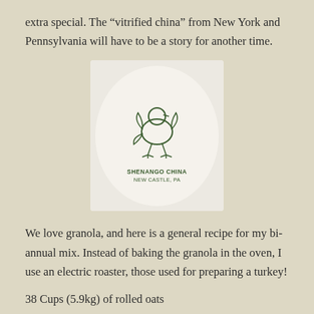extra special. The “vitrified china” from New York and Pennsylvania will have to be a story for another time.
[Figure (photo): Bottom of a piece of Shenango China from New Castle, PA, showing a logo of a figure and text reading 'SHENANGO CHINA NEW CASTLE, PA']
We love granola, and here is a general recipe for my bi-annual mix. Instead of baking the granola in the oven, I use an electric roaster, those used for preparing a turkey!
38 Cups (5.9kg) of rolled oats
3 pounds (1360.78g) mixed raw nuts (I like almonds,